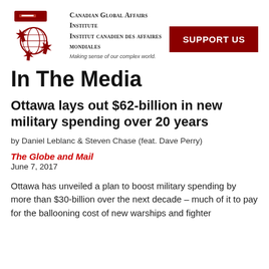[Figure (logo): Canadian Global Affairs Institute logo: red maple leaf and globe motif with red banner, alongside text 'Canadian Global Affairs Institute / Institut canadien des affaires mondiales / Making sense of our complex world.']
SUPPORT US
In The Media
Ottawa lays out $62-billion in new military spending over 20 years
by Daniel Leblanc & Steven Chase (feat. Dave Perry)
The Globe and Mail
June 7, 2017
Ottawa has unveiled a plan to boost military spending by more than $30-billion over the next decade – much of it to pay for the ballooning cost of new warships and fighter